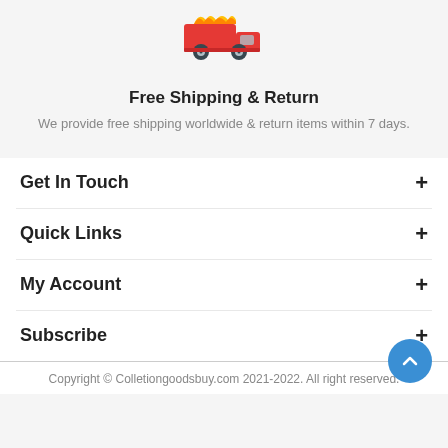[Figure (illustration): A red and yellow delivery truck icon]
Free Shipping & Return
We provide free shipping worldwide & return items within 7 days.
Get In Touch
Quick Links
My Account
Subscribe
Copyright © Colletiongoodsbuy.com 2021-2022. All right reserved.